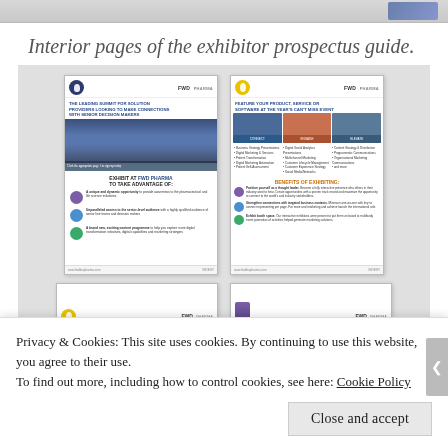[Figure (screenshot): Partial image at top of page, cropped]
Interior pages of the exhibitor prospectus guide.
[Figure (screenshot): Gallery of two document thumbnail pages from an exhibitor prospectus guide. Left thumbnail shows 'EXHIBIT AT FWD PHARMA TO TAKE ADVANTAGE OF:' with icons and bullet points. Right thumbnail shows 'FEATURE YOUR PRODUCT, SERVICE OR SOFTWARE AT THE YEAR'S CAN'T MISS EVENT' with photo grid and benefits list.]
[Figure (screenshot): Two smaller partial document thumbnails at the bottom of the gallery area, partially cut off.]
Privacy & Cookies: This site uses cookies. By continuing to use this website, you agree to their use.
To find out more, including how to control cookies, see here: Cookie Policy
Close and accept